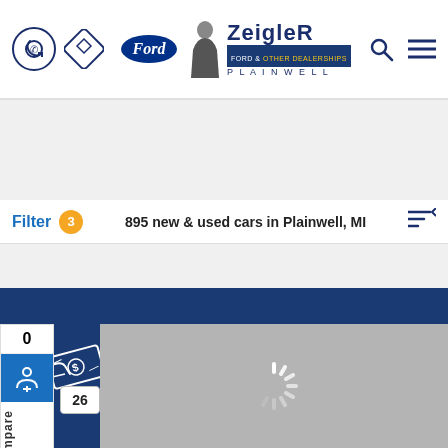[Figure (screenshot): Zeigler Ford Plainwell dealership website header with phone icon, navigation icon, Ford oval logo, Zeigler logo with person silhouette, search icon, and hamburger menu icon]
Filter 3   895 new & used cars in Plainwell, MI
[Figure (infographic): Dark blue promotional banner with hand holding money illustration, text 'Save 1 hour at the dealership. Get pre-approved.' and a right-arrow circle button]
[Figure (photo): Gray placeholder image area showing a loading spinner, representing a car listing image loading]